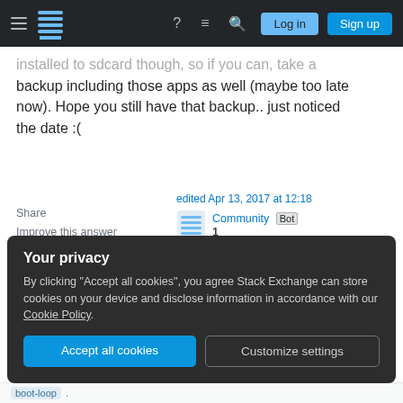Stack Exchange navigation bar with hamburger menu, logo, help, chat, search icons, Log in and Sign up buttons
installed to sdcard though, so if you can, take a backup including those apps as well (maybe too late now). Hope you still have that backup.. just noticed the date :(
Share
Improve this answer
Follow
edited Apr 13, 2017 at 12:18
Community Bot
1
answered Aug 8, 2013 at 6:27
Karthik T
385 2 6 18
Your privacy
By clicking "Accept all cookies", you agree Stack Exchange can store cookies on your device and disclose information in accordance with our Cookie Policy.
Accept all cookies
Customize settings
boot-loop .